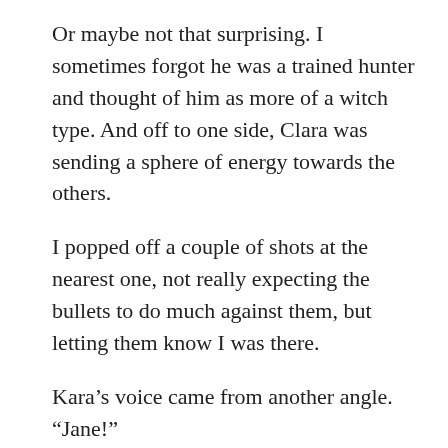Or maybe not that surprising. I sometimes forgot he was a trained hunter and thought of him as more of a witch type. And off to one side, Clara was sending a sphere of energy towards the others.
I popped off a couple of shots at the nearest one, not really expecting the bullets to do much against them, but letting them know I was there.
Kara’s voice came from another angle. “Jane!”
I turned, and held my hand out as she tossed me a sword, catching the hilt as if we’d practiced it a thousand times.
That was better. So much better. It wasn’t my sword, but it was balanced and the fire giant, seeing it and the look in my eyes, backpedaled rapidly.